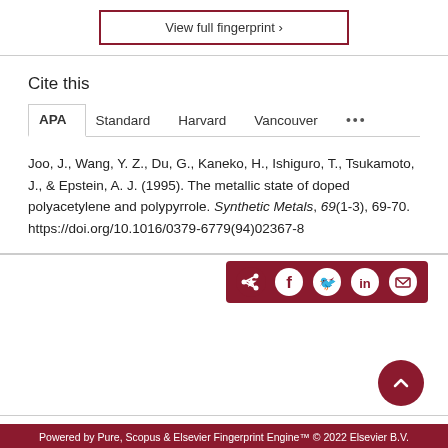View full fingerprint ›
Cite this
APA  Standard  Harvard  Vancouver  •••
Joo, J., Wang, Y. Z., Du, G., Kaneko, H., Ishiguro, T., Tsukamoto, J., & Epstein, A. J. (1995). The metallic state of doped polyacetylene and polypyrrole. Synthetic Metals, 69(1-3), 69-70. https://doi.org/10.1016/0379-6779(94)02367-8
Powered by Pure, Scopus & Elsevier Fingerprint Engine™ © 2022 Elsevier B.V.